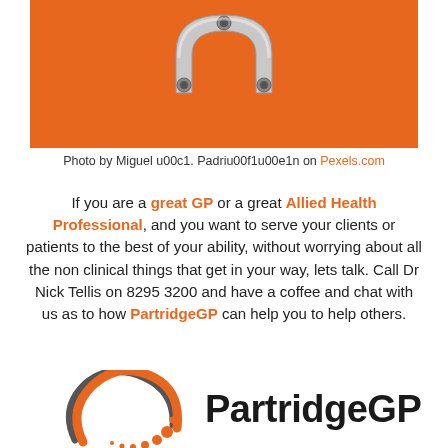[Figure (photo): Metal bicycle chain link part on an orange background]
Photo by Miguel u00c1. Padriu00f1u00e1n on Pexels.com
If you are a great GP or a great Allied Health Professional, and you want to serve your clients or patients to the best of your ability, without worrying about all the non clinical things that get in your way, lets talk. Call Dr Nick Tellis on 8295 3200 and have a coffee and chat with us as to how PartridgeGP can help you to help others.
[Figure (logo): PartridgeGP logo with orange circular arc and dot design beside bold text PartridgeGP]